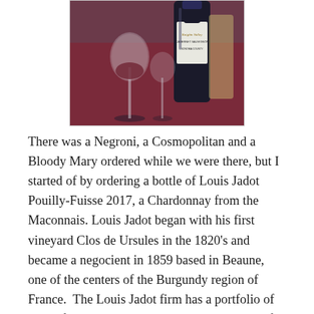[Figure (photo): Photo of wine glasses and a bottle of Knights Valley Cabernet Sauvignon on a dark red surface]
There was a Negroni, a Cosmopolitan and a Bloody Mary ordered while we were there, but I started of by ordering a bottle of Louis Jadot Pouilly-Fuisse 2017, a Chardonnay from the Maconnais. Louis Jadot began with his first vineyard Clos de Ursules in the 1820's and became a negocient in 1859 based in Beaune, one of the centers of the Burgundy region of France.  The Louis Jadot firm has a portfolio of wines from the basic regional wines to some of the most lauded vineyards in the region.  Pouilly-Fuisse is considered one of the finest regions for white wines in Southern Burgundy. There are no Grand Cru designations